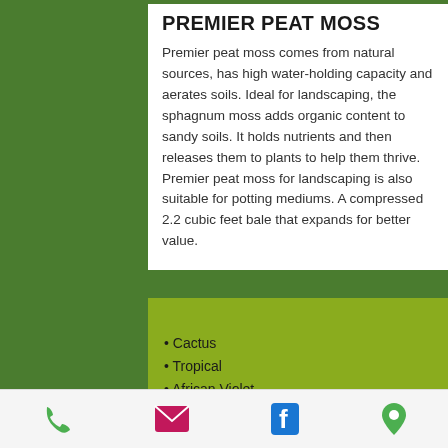PREMIER PEAT MOSS
Premier peat moss comes from natural sources, has high water-holding capacity and aerates soils. Ideal for landscaping, the sphagnum moss adds organic content to sandy soils. It holds nutrients and then releases them to plants to help them thrive. Premier peat moss for landscaping is also suitable for potting mediums. A compressed 2.2 cubic feet bale that expands for better value.
Cactus
Tropical
African Violet
Perlite
Vermiculite
[Figure (other): Bottom navigation bar with phone, email, Facebook, and location icons]